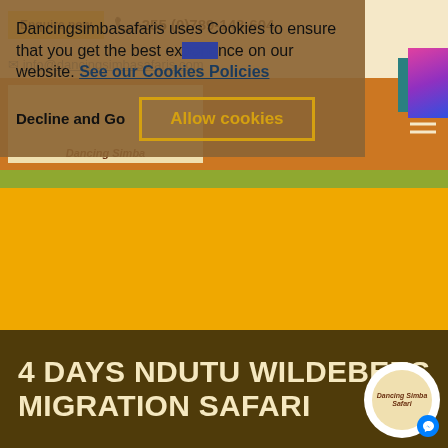Enquire now  +255 (0)789-148-604
info@dancingsimbasafaris.com
[Figure (logo): Dancing Simba Safari logo]
Dancingsimbasafaris uses Cookies to ensure that you get the best experience on our website. See our Cookies Policies
Decline and Go
Allow cookies
4 DAYS NDUTU WILDEBEES MIGRATION SAFARI